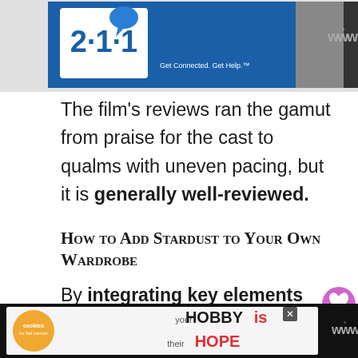[Figure (screenshot): Advertisement banner showing '211 Get Connected. Get Help.' with a person in a denim jacket, and a Woo logo in the top right corner.]
The film's reviews ran the gamut from praise for the cast to qualms with uneven pacing, but it is generally well-reviewed.
How to Add Stardust to Your Own Wardrobe
By integrating key elements of the novel into your own look, you, too, can have a wardrobe that incorporates the magic of
[Figure (screenshot): Cookie advertisement banner at bottom showing cookies logo and 'your HOBBY is their HOPE' text with a close button and Woo logo.]